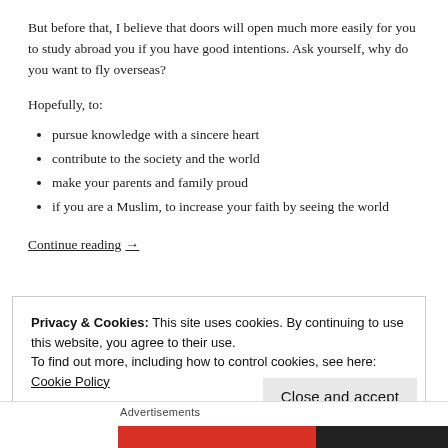But before that, I believe that doors will open much more easily for you to study abroad you if you have good intentions. Ask yourself, why do you want to fly overseas?
Hopefully, to:
pursue knowledge with a sincere heart
contribute to the society and the world
make your parents and family proud
if you are a Muslim, to increase your faith by seeing the world
Continue reading →
Privacy & Cookies: This site uses cookies. By continuing to use this website, you agree to their use.
To find out more, including how to control cookies, see here: Cookie Policy
Close and accept
Advertisements